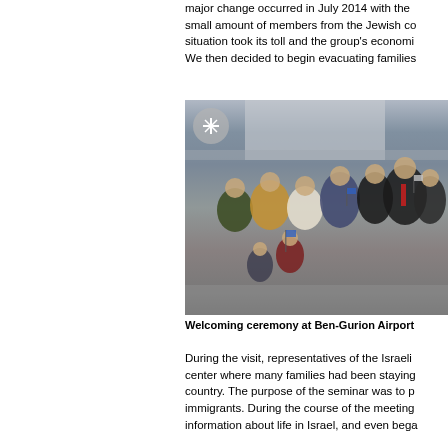major change occurred in July 2014 with the small amount of members from the Jewish co situation took its toll and the group's economi We then decided to begin evacuating families
[Figure (photo): Group photo of people at Ben-Gurion Airport welcoming ceremony. Many people including adults and children are holding small Israeli flags. A man in a suit and red tie is visible on the right side.]
Welcoming ceremony at Ben-Gurion Airport
During the visit, representatives of the Israeli center where many families had been staying country. The purpose of the seminar was to p immigrants. During the course of the meeting information about life in Israel, and even bega